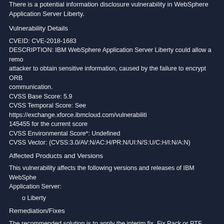There is a potential information disclosure vulnerability in WebSphere Application Server Liberty.
Vulnerability Details
CVEID: CVE-2018-1683
DESCRIPTION: IBM WebSphere Application Server Liberty could allow a remote attacker to obtain sensitive information, caused by the failure to encrypt ORB communication.
CVSS Base Score: 5.9
CVSS Temporal Score: See https://exchange.xforce.ibmcloud.com/vulnerabilities/145455 for the current score
CVSS Environmental Score*: Undefined
CVSS Vector: (CVSS:3.0/AV:N/AC:H/PR:N/UI:N/S:U/C:H/I:N/A:N)
Affected Products and Versions
This vulnerability affects the following versions and releases of IBM WebSphere Application Server:
o Liberty
Remediation/Fixes
The recommended solution is to apply the interim fix, Fix Pack or PTF containing APARs PI99176 for each named product as soon as practical.
For WebSphere Application Server Liberty:
. Upgrade to minimal fix pack levels as required by interim fix and then apply Interim Fix PI99176
- --OR--
. Apply Liberty Fix Pack 18.0.0.3 or later.